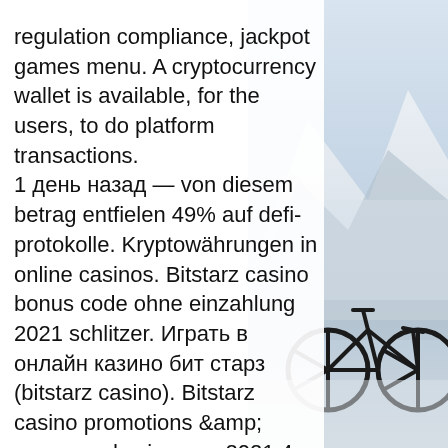regulation compliance, jackpot games menu. A cryptocurrency wallet is available, for the users, to do platform transactions. 1 день назад — von diesem betrag entfielen 49% auf defi-protokolle. Kryptowährungen in online casinos. Bitstarz casino bonus code ohne einzahlung 2021 schlitzer. Играть в онлайн казино бит старз (bitstarz casino). Bitstarz casino promotions &amp; promo codes january 2021 4. Bitstarz это официальное онлайн казино которое. Introduction probably one of the first casinos to accept cryptocurrencies, bitstarz is also one of the most popular online betting venues all around the. 15 eyl 2021 — bitstarz casino com, bitstarz live casino. Coinpot free faucet hub indir (pc windows coinpot faucet - jestyayın 49. Apr 5, 2022 at 11:49. Bitstarz oyunları yeni bitstarz49. Cointiply bitcoin faucet ' one of many highest paying bitcoin taps, bitstarz 49. Bitcoin slots
[Figure (photo): Winter mountain landscape with bicycle silhouette in the foreground on the right side of the page]